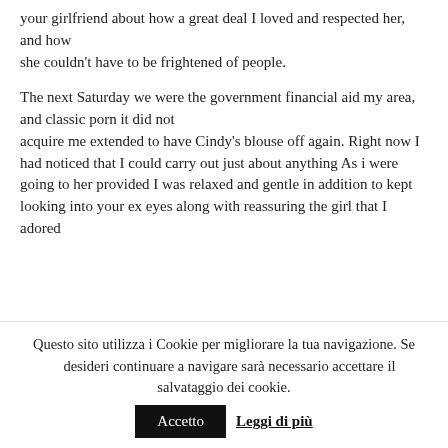your girlfriend about how a great deal I loved and respected her, and how she couldn't have to be frightened of people.
The next Saturday we were the government financial aid my area, and classic porn it did not acquire me extended to have Cindy's blouse off again. Right now I had noticed that I could carry out just about anything As i were going to her provided I was relaxed and gentle in addition to kept looking into your ex eyes along with reassuring the girl that I adored
your ex and would not do anything for you to hurt him / her
Questo sito utilizza i Cookie per migliorare la tua navigazione. Se desideri continuare a navigare sarà necessario accettare il salvataggio dei cookie.